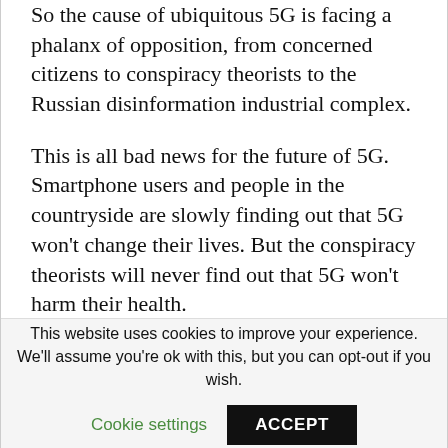So the cause of ubiquitous 5G is facing a phalanx of opposition, from concerned citizens to conspiracy theorists to the Russian disinformation industrial complex.
This is all bad news for the future of 5G. Smartphone users and people in the countryside are slowly finding out that 5G won’t change their lives. But the conspiracy theorists will never find out that 5G won’t harm their health.
There are many people who believe that public 5G will totally transform the world. And those people are wrong.
This website uses cookies to improve your experience. We’ll assume you’re ok with this, but you can opt-out if you wish.
Cookie settings   ACCEPT